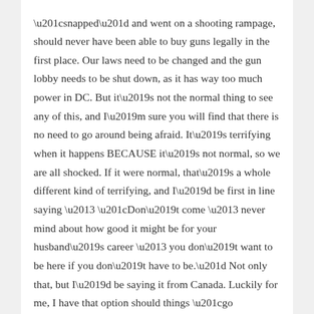“snapped” and went on a shooting rampage, should never have been able to buy guns legally in the first place. Our laws need to be changed and the gun lobby needs to be shut down, as it has way too much power in DC. But it’s not the normal thing to see any of this, and I’m sure you will find that there is no need to go around being afraid. It’s terrifying when it happens BECAUSE it’s not normal, so we are all shocked. If it were normal, that’s a whole different kind of terrifying, and I’d be first in line saying – “Don’t come – never mind about how good it might be for your husband’s career – you don’t want to be here if you don’t have to be.” Not only that, but I’d be saying it from Canada. Luckily for me, I have that option should things “go south” for us here – I will still be able to live in Canada.
So, as I wrote that, I wondered about the saying “go